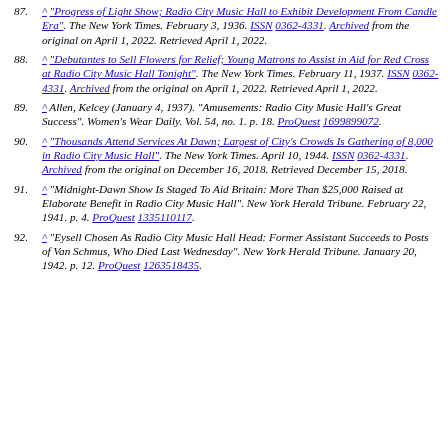87. ^ "Progress of Light Show; Radio City Music Hall to Exhibit Development From Candle Era". The New York Times. February 3, 1936. ISSN 0362-4331. Archived from the original on April 1, 2022. Retrieved April 1, 2022.
88. ^ "Debutantes to Sell Flowers for Relief; Young Matrons to Assist in Aid for Red Cross at Radio City Music Hall Tonight". The New York Times. February 11, 1937. ISSN 0362-4331. Archived from the original on April 1, 2022. Retrieved April 1, 2022.
89. ^ Allen, Kelcey (January 4, 1937). "Amusements: Radio City Music Hall's Great Success". Women's Wear Daily. Vol. 54, no. 1. p. 18. ProQuest 1699899072.
90. ^ "Thousands Attend Services At Dawn; Largest of City's Crowds Is Gathering of 8,000 in Radio City Music Hall". The New York Times. April 10, 1944. ISSN 0362-4331. Archived from the original on December 16, 2018. Retrieved December 15, 2018.
91. ^ "Midnight-Dawn Show Is Staged To Aid Britain: More Than $25,000 Raised at Elaborate Benefit in Radio City Music Hall". New York Herald Tribune. February 22, 1941. p. 4. ProQuest 1335110117.
92. ^ "Eysell Chosen As Radio City Music Hall Head: Former Assistant Succeeds to Posts of Van Schmus, Who Died Last Wednesday". New York Herald Tribune. January 20, 1942. p. 12. ProQuest 1263518435.